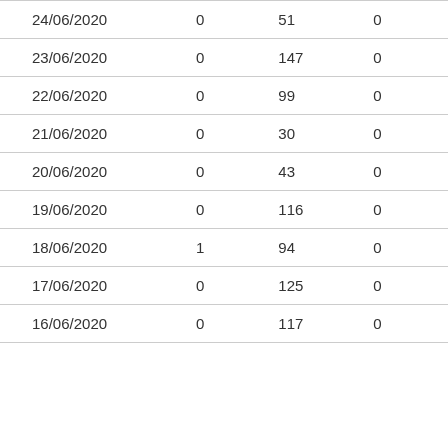| 24/06/2020 | 0 | 51 | 0 |
| 23/06/2020 | 0 | 147 | 0 |
| 22/06/2020 | 0 | 99 | 0 |
| 21/06/2020 | 0 | 30 | 0 |
| 20/06/2020 | 0 | 43 | 0 |
| 19/06/2020 | 0 | 116 | 0 |
| 18/06/2020 | 1 | 94 | 0 |
| 17/06/2020 | 0 | 125 | 0 |
| 16/06/2020 | 0 | 117 | 0 |